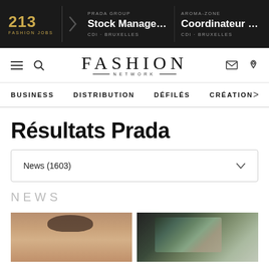213 FASHION JOBS | PRADA GROUP Stock Manager Bruxell... CDI - BRUXELLES | AROMA-ZONE Coordinateur Sto CDI - BRUXELLES
[Figure (logo): Fashion Network logo with FASHION in large serif letters and NETWORK below in small caps]
BUSINESS   DISTRIBUTION   DÉFILÉS   CRÉATION   >
Résultats Prada
News (1603)
NEWS
[Figure (photo): Close-up photo of a person's face with short dark hair]
[Figure (photo): Photo of a person wearing a colorful patterned jacket]